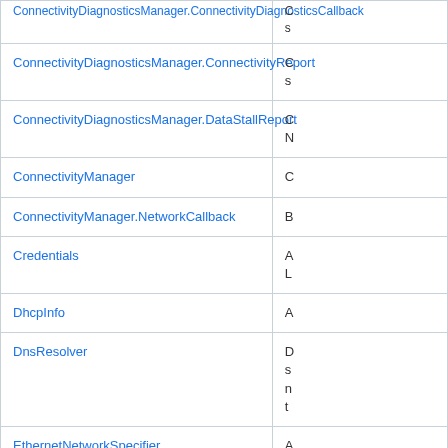| Class | Description |
| --- | --- |
| ConnectivityDiagnosticsManager.ConnectivityDiagnosticsCallback | C s |
| ConnectivityDiagnosticsManager.ConnectivityReport | C s |
| ConnectivityDiagnosticsManager.DataStallReport | C N |
| ConnectivityManager | C |
| ConnectivityManager.NetworkCallback | B |
| Credentials | A L |
| DhcpInfo | A |
| DnsResolver | D s n t |
| EthernetNetworkSpecifier | A |
| Ikev2VpnProfile | T Ik |
| Ikev2VpnProfile.Builder | A |